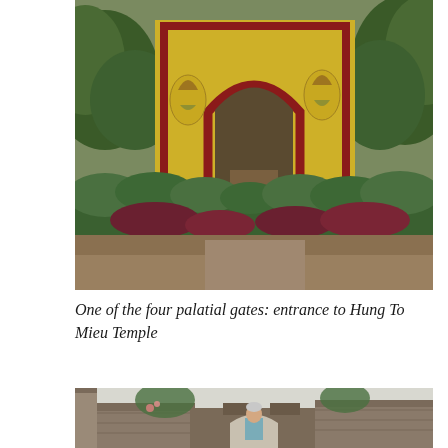[Figure (photo): A yellow and red ornate palatial gate with a large arched opening, surrounded by lush green shrubs and dark red foliage. The gate features decorative painted motifs on its yellow walls with red trim. This is the entrance to Hung To Mieu Temple.]
One of the four palatial gates: entrance to Hung To Mieu Temple
[Figure (photo): An ancient stone gateway or fortification wall with weathered stonework. A person stands beneath a low stone arch passage. Trees and greenery are visible in the background.]